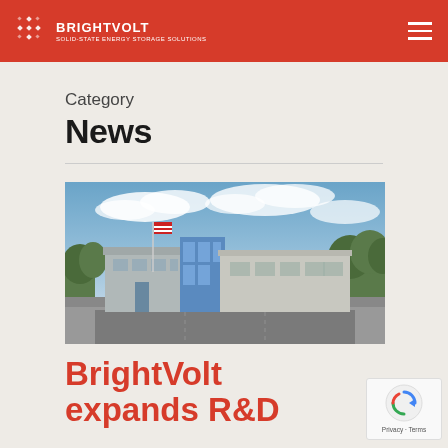BrightVolt
Category
News
[Figure (photo): Exterior photograph of a modern commercial/industrial building with blue glass facade, American flag on a pole, parking lot in front, trees in background, and a cloudy blue sky.]
BrightVolt expands R&D